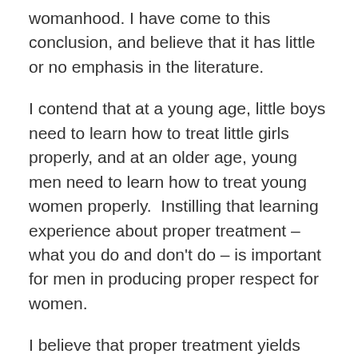womanhood. I have come to this conclusion, and believe that it has little or no emphasis in the literature.
I contend that at a young age, little boys need to learn how to treat little girls properly, and at an older age, young men need to learn how to treat young women properly.  Instilling that learning experience about proper treatment – what you do and don't do – is important for men in producing proper respect for women.
I believe that proper treatment yields respect.  Conversely, I believe that improper treatment yields a lack of respect.